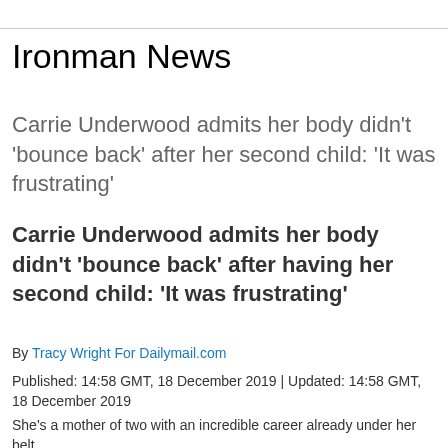Ironman News
Carrie Underwood admits her body didn't 'bounce back' after her second child: 'It was frustrating'
Carrie Underwood admits her body didn't 'bounce back' after having her second child: 'It was frustrating'
By Tracy Wright For Dailymail.com
Published: 14:58 GMT, 18 December 2019 | Updated: 14:58 GMT, 18 December 2019
She's a mother of two with an incredible career already under her belt.